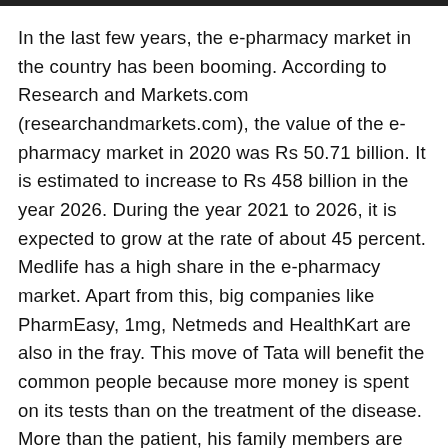In the last few years, the e-pharmacy market in the country has been booming. According to Research and Markets.com (researchandmarkets.com), the value of the e-pharmacy market in 2020 was Rs 50.71 billion. It is estimated to increase to Rs 458 billion in the year 2026. During the year 2021 to 2026, it is expected to grow at the rate of about 45 percent. Medlife has a high share in the e-pharmacy market. Apart from this, big companies like PharmEasy, 1mg, Netmeds and HealthKart are also in the fray. This move of Tata will benefit the common people because more money is spent on its tests than on the treatment of the disease. More than the patient, his family members are worried about the test.